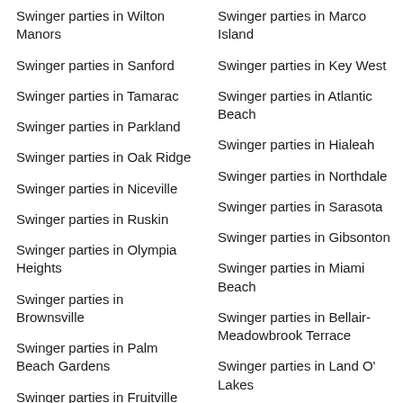Swinger parties in Wilton Manors
Swinger parties in Sanford
Swinger parties in Tamarac
Swinger parties in Parkland
Swinger parties in Oak Ridge
Swinger parties in Niceville
Swinger parties in Ruskin
Swinger parties in Olympia Heights
Swinger parties in Brownsville
Swinger parties in Palm Beach Gardens
Swinger parties in Fruitville
Swinger parties in Pine Castle
Swinger parties in Marco Island
Swinger parties in Key West
Swinger parties in Atlantic Beach
Swinger parties in Hialeah
Swinger parties in Northdale
Swinger parties in Sarasota
Swinger parties in Gibsonton
Swinger parties in Miami Beach
Swinger parties in Bellair-Meadowbrook Terrace
Swinger parties in Land O' Lakes